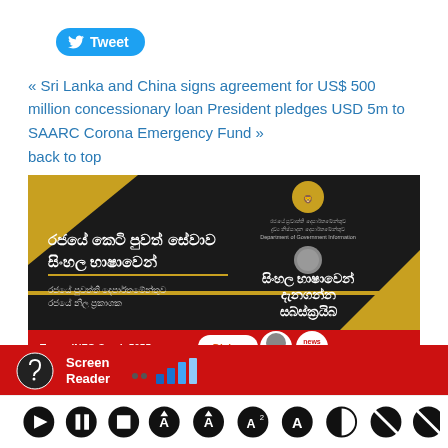[Figure (screenshot): Twitter Tweet button with bird icon]
« Sri Lanka and China signs agreement for US$ 500 million concessionary loan President pledges USD 5m to SAARC Corona Emergency Fund »
back to top
[Figure (illustration): Sri Lanka Government Department of Government Information promotional banner in Sinhala language, with gold and black design, Dialog telecom branding, news.lk logo, showing government news service in Sinhala]
[Figure (screenshot): Screen Reader accessibility bar with red background, ear/sound icon, signal bars, and media control buttons (play, pause, stop, and text size controls)]